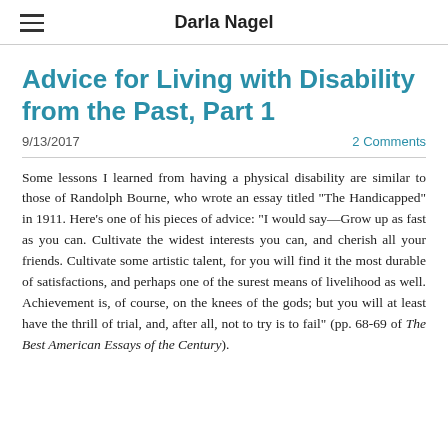Darla Nagel
Advice for Living with Disability from the Past, Part 1
9/13/2017   2 Comments
Some lessons I learned from having a physical disability are similar to those of Randolph Bourne, who wrote an essay titled "The Handicapped" in 1911. Here's one of his pieces of advice: "I would say—Grow up as fast as you can. Cultivate the widest interests you can, and cherish all your friends. Cultivate some artistic talent, for you will find it the most durable of satisfactions, and perhaps one of the surest means of livelihood as well. Achievement is, of course, on the knees of the gods; but you will at least have the thrill of trial, and, after all, not to try is to fail" (pp. 68-69 of The Best American Essays of the Century).